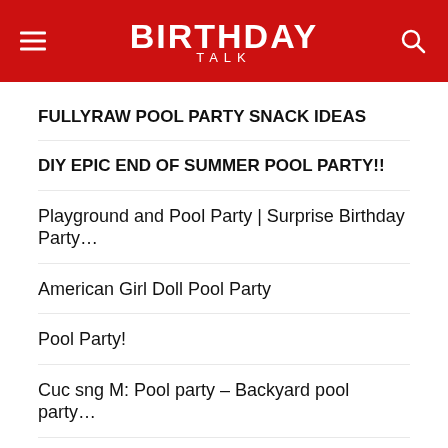BIRTHDAY TALK
FULLYRAW POOL PARTY SNACK IDEAS
DIY EPIC END OF SUMMER POOL PARTY!!
Playground and Pool Party | Surprise Birthday Party…
American Girl Doll Pool Party
Pool Party!
Cuc sng M: Pool party – Backyard pool party…
POOL PARTY OUTFIT Ideas For the Fall & Winter…
BackCountry Tween Pool Party at BackCountry in…